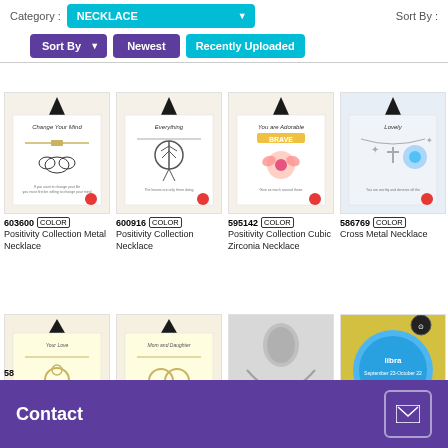Category : NECKLACE
Sort By :
Sort By   Newest   Recently Uploaded
[Figure (screenshot): Product card: necklace 603600 - Positivity Collection Metal Necklace]
603600 COLOR
Positivity Collection Metal Necklace
[Figure (screenshot): Product card: necklace 600916 - Positivity Collection Necklace]
600916 COLOR
Positivity Collection Necklace
[Figure (screenshot): Product card: necklace 595142 - Positivity Collection Cubic Zirconia Necklace]
595142 COLOR
Positivity Collection Cubic Zirconia Necklace
[Figure (screenshot): Product card: necklace 586769 - Cross Metal Necklace]
586769 COLOR
Cross Metal Necklace
[Figure (screenshot): Second row product cards (partially visible): necklaces with codes starting 58x]
58
Contact